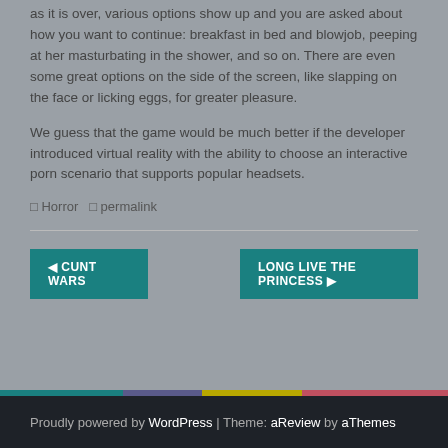as it is over, various options show up and you are asked about how you want to continue: breakfast in bed and blowjob, peeping at her masturbating in the shower, and so on. There are even some great options on the side of the screen, like slapping on the face or licking eggs, for greater pleasure.
We guess that the game would be much better if the developer introduced virtual reality with the ability to choose an interactive porn scenario that supports popular headsets.
◻ Horror  ◻ permalink
◀ CUNT WARS
LONG LIVE THE PRINCESS ▶
Proudly powered by WordPress | Theme: aReview by aThemes